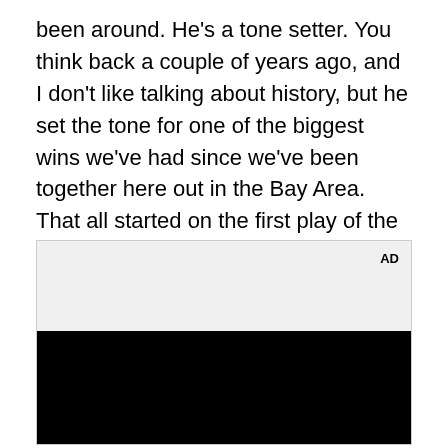been around.  He's a tone setter.  You think back a couple of years ago, and I don't like talking about history, but he set the tone for one of the biggest wins we've had since we've been together here out in the Bay Area.  That all started on the first play of the game where he touched the football.  He's a great, great player.  He's a warrior and we'll see what happens."
[Figure (other): Advertisement placeholder box with 'AD' label in top-right corner, light gray background on top portion and black background on bottom portion]